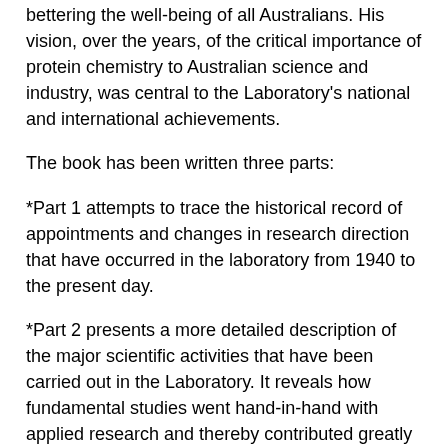bettering the well-being of all Australians. His vision, over the years, of the critical importance of protein chemistry to Australian science and industry, was central to the Laboratory's national and international achievements.
The book has been written three parts:
*Part 1 attempts to trace the historical record of appointments and changes in research direction that have occurred in the laboratory from 1940 to the present day.
*Part 2 presents a more detailed description of the major scientific activities that have been carried out in the Laboratory. It reveals how fundamental studies went hand-in-hand with applied research and thereby contributed greatly to the understanding of practical problems and their possible solution.
*Part 3 provides a complete list of Patents and Publications